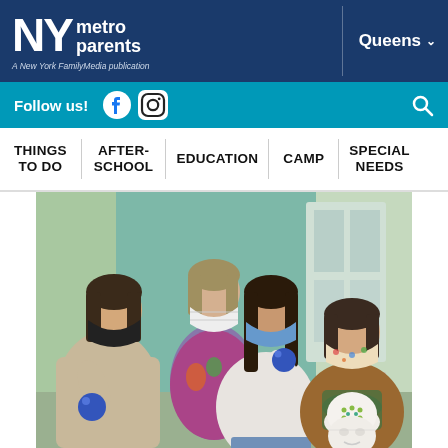NY metro parents — A New York FamilyMedia publication | Queens
Follow us! [Facebook] [Instagram] [Search]
THINGS TO DO | AFTER-SCHOOL | EDUCATION | CAMP | SPECIAL NEEDS
[Figure (photo): Four people wearing masks standing in a room. Three hold blue glittery balls; one holds a white mannequin head with a dotted EEG cap. Left person wears black mask and beige sweater; center-back wears white N95 mask and patterned top; center-front wears blue surgical mask and white sweater; right person wears floral mask, brown sweater and green scarf.]